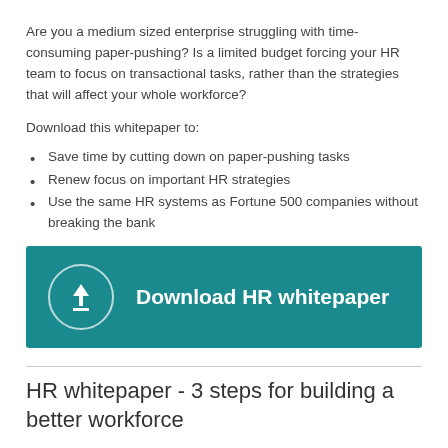Are you a medium sized enterprise struggling with time-consuming paper-pushing? Is a limited budget forcing your HR team to focus on transactional tasks, rather than the strategies that will affect your whole workforce?
Download this whitepaper to:
Save time by cutting down on paper-pushing tasks
Renew focus on important HR strategies
Use the same HR systems as Fortune 500 companies without breaking the bank
[Figure (other): Teal call-to-action button with upload icon in a circle and text 'Download HR whitepaper']
HR whitepaper - 3 steps for building a better workforce